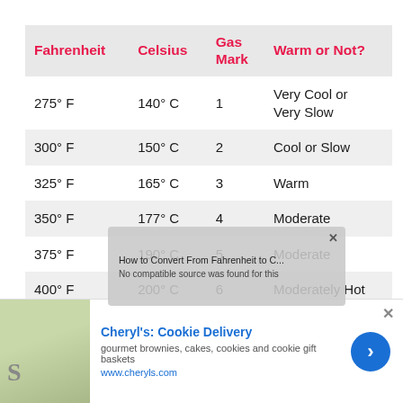| Fahrenheit | Celsius | Gas Mark | Warm or Not? |
| --- | --- | --- | --- |
| 275° F | 140° C | 1 | Very Cool or Very Slow |
| 300° F | 150° C | 2 | Cool or Slow |
| 325° F | 165° C | 3 | Warm |
| 350° F | 177° C | 4 | Moderate |
| 375° F | 190° C | 5 | Moderate |
| 400° F | 200° C | 6 | Moderately Hot |